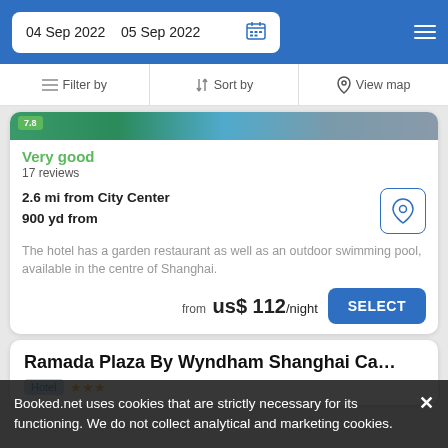04 Sep 2022  05 Sep 2022
Filter by  Sort by  View map
Very good
17 reviews
2.6 mi from City Center
900 yd from
The hotel has a garden restaurant as well as an outdoor swimming pool, available in the centre of Shanghai.
from us$ 112/night
SELECT
Ramada Plaza By Wyndham Shanghai Ca…
Hotel ★★★
Booked.net uses cookies that are strictly necessary for its functioning. We do not collect analytical and marketing cookies.